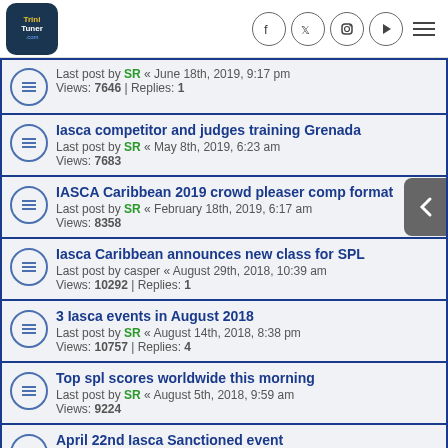TriniTuner.com forum listing page with social media icons
Last post by SR « June 18th, 2019, 9:17 pm | Views: 7646 | Replies: 1
Iasca competitor and judges training Grenada — Last post by SR « May 8th, 2019, 6:23 am | Views: 7683
IASCA Caribbean 2019 crowd pleaser comp format — Last post by SR « February 18th, 2019, 6:17 am | Views: 8358
Iasca Caribbean announces new class for SPL — Last post by casper « August 29th, 2018, 10:39 am | Views: 10292 | Replies: 1
3 Iasca events in August 2018 — Last post by SR « August 14th, 2018, 8:38 pm | Views: 10757 | Replies: 4
Top spl scores worldwide this morning — Last post by SR « August 5th, 2018, 9:59 am | Views: 9224
April 22nd Iasca Sanctioned event — Last post by SR « (partial)